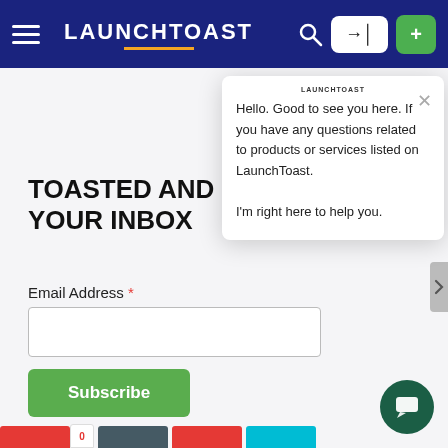LAUNCHTOAST
TOASTED AND SERVED TO YOUR INBOX
Email Address *
Subscribe
[Figure (screenshot): Chat popup widget with LAUNCHTOAST branding showing message: Hello. Good to see you here. If you have any questions related to products or services listed on LaunchToast. I'm right here to help you.]
Hello. Good to see you here. If you have any questions related to products or services listed on LaunchToast. I'm right here to help you.